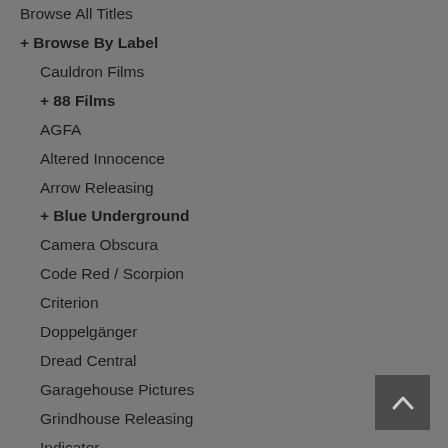Browse All Titles
+ Browse By Label
Cauldron Films
+ 88 Films
AGFA
Altered Innocence
Arrow Releasing
+ Blue Underground
Camera Obscura
Code Red / Scorpion
Criterion
Doppelgänger
Dread Central
Garagehouse Pictures
Grindhouse Releasing
Indicator
Kino
Mondo Macabro
+ MVD Rewind
Scream / Shout Factory